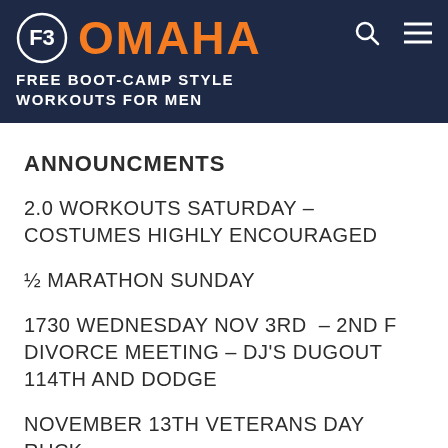F3 OMAHA — FREE BOOT-CAMP STYLE WORKOUTS FOR MEN
ANNOUNCMENTS
2.0 WORKOUTS SATURDAY – COSTUMES HIGHLY ENCOURAGED
½ MARATHON SUNDAY
1730 WEDNESDAY NOV 3RD – 2ND F DIVORCE MEETING – DJ'S DUGOUT 114TH AND DODGE
NOVEMBER 13TH VETERANS DAY RUCK –